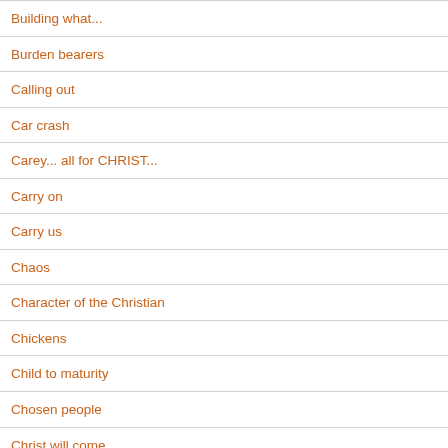Building what...
Burden bearers
Calling out
Car crash
Carey... all for CHRIST...
Carry on
Carry us
Chaos
Character of the Christian
Chickens
Child to maturity
Chosen people
Christ will come